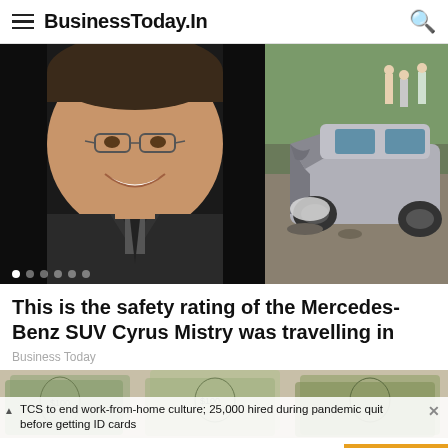BusinessToday.In
[Figure (photo): Split image: left side shows a smiling man in a suit (Cyrus Mistry), right side shows a severely damaged silver Mercedes-Benz SUV at an accident scene with people in background]
This is the safety rating of the Mercedes-Benz SUV Cyrus Mistry was travelling in
Business Today
[Figure (photo): Partial image of currency notes, background for second news story]
TCS to end work-from-home culture; 25,000 hired during pandemic quit before getting ID cards
MOST READ